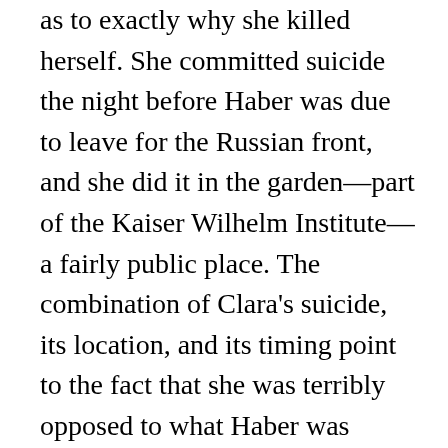as to exactly why she killed herself. She committed suicide the night before Haber was due to leave for the Russian front, and she did it in the garden—part of the Kaiser Wilhelm Institute—a fairly public place. The combination of Clara's suicide, its location, and its timing point to the fact that she was terribly opposed to what Haber was doing and killed herself in protest. But there were other grave problems in their marriage as well. When they married, she was one of the first women in Germany to get a PhD in chemistry. Haber proposed, and she